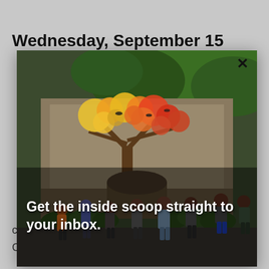Wednesday, September 15
[Figure (photo): Modal popup overlay on a webpage showing a photo of people standing outside a building with a colorful mural of a yellow/orange tree, with text overlay reading 'Get the inside scoop straight to your inbox.']
can attend in person at the Hartsfield Community Center, 696 Main Street, or join by